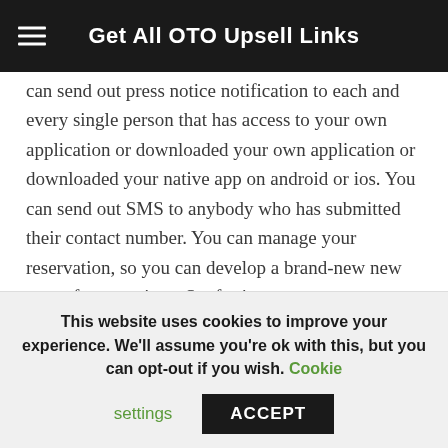Get All OTO Upsell Links
can send out press notice notification to each and every single person that has access to your own application or downloaded your own application or downloaded your native app on android or ios. You can send out SMS to anybody who has submitted their contact number. You can manage your reservation, so you can develop a brand-new new type of reservations. So, for instance, you create a reservation for a table reservation here.
You can add this inside any type of app that you produce the exact same way. You can create brand-new bookings in any one of the reservations that you create. You can have them totally free registration or paid enrollment. PayPal, stripe or
This website uses cookies to improve your experience. We'll assume you're ok with this, but you can opt-out if you wish. Cookie settings ACCEPT